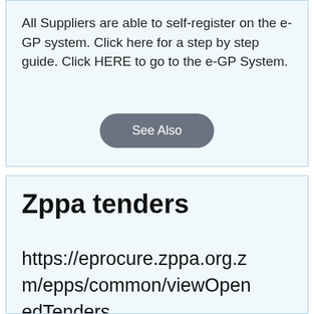All Suppliers are able to self-register on the e-GP system. Click here for a step by step guide. Click HERE to go to the e-GP System.
See Also
Zppa tenders
https://eprocure.zppa.org.zm/epps/common/viewOpenedTenders
e-GP Platform is a web-based,